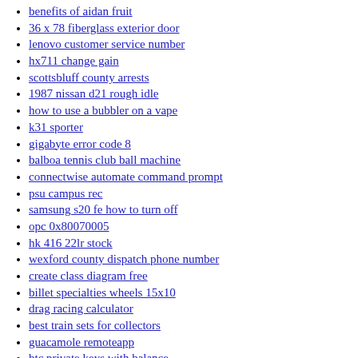benefits of aidan fruit
36 x 78 fiberglass exterior door
lenovo customer service number
hx711 change gain
scottsbluff county arrests
1987 nissan d21 rough idle
how to use a bubbler on a vape
k31 sporter
gigabyte error code 8
balboa tennis club ball machine
connectwise automate command prompt
psu campus rec
samsung s20 fe how to turn off
opc 0x80070005
hk 416 22lr stock
wexford county dispatch phone number
create class diagram free
billet specialties wheels 15x10
drag racing calculator
best train sets for collectors
guacamole remoteapp
btc private keys with balance
2004 quarter error value
how much is the monthly rent for this apartment plus its parking space